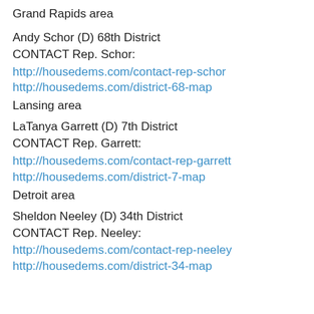Grand Rapids area
Andy Schor (D) 68th District
CONTACT Rep. Schor: http://housedems.com/contact-rep-schor
http://housedems.com/district-68-map
Lansing area
LaTanya Garrett (D) 7th District
CONTACT Rep. Garrett: http://housedems.com/contact-rep-garrett
http://housedems.com/district-7-map
Detroit area
Sheldon Neeley (D) 34th District
CONTACT Rep. Neeley: http://housedems.com/contact-rep-neeley
http://housedems.com/district-34-map